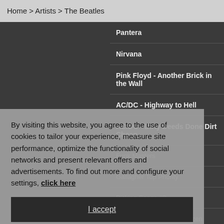Home > Artists > The Beatles
Pantera
Nirvana
Pink Floyd - Another Brick in the Wall
AC/DC - Highway to Hell
AC/DC - Dirty Deeds Done Dirt Cheap
Funk Masters
Gallagher Top Priority
Picking Songs #2
Ferdinando Carulli Romanzen Opus 333-
Jeff Beck
Dire Straits - Communiqué
Radiohead
By visiting this website, you agree to the use of cookies to tailor your experience, measure site performance, optimize the functionality of social networks and present relevant offers and advertisements. To find out more and configure your settings, click here
I accept